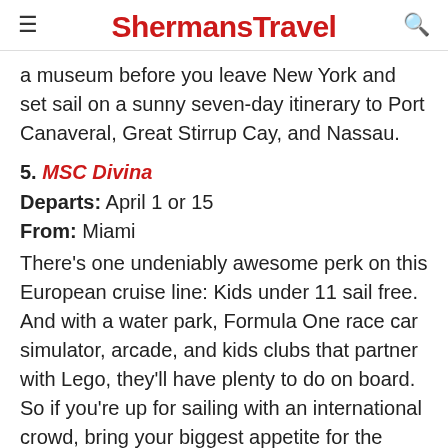ShermansTravel
a museum before you leave New York and set sail on a sunny seven-day itinerary to Port Canaveral, Great Stirrup Cay, and Nassau.
5. MSC Divina
Departs: April 1 or 15
From: Miami
There's one undeniably awesome perk on this European cruise line: Kids under 11 sail free. And with a water park, Formula One race car simulator, arcade, and kids clubs that partner with Lego, they'll have plenty to do on board. So if you're up for sailing with an international crowd, bring your biggest appetite for the Italian gelato, pizza, and steak from Eataly,